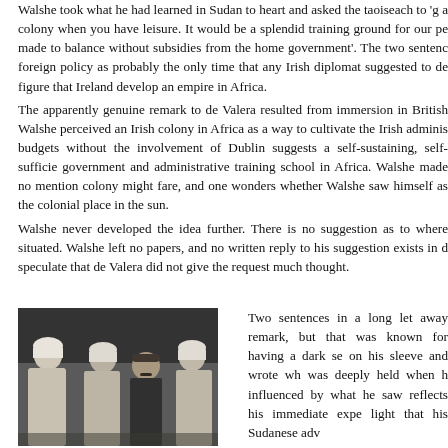Walshe took what he had learned in Sudan to heart and asked the taoiseach to 'g a colony when you have leisure. It would be a splendid training ground for our pe made to balance without subsidies from the home government'. The two sentenc foreign policy as probably the only time that any Irish diplomat suggested to de figure that Ireland develop an empire in Africa.
The apparently genuine remark to de Valera resulted from immersion in British Walshe perceived an Irish colony in Africa as a way to cultivate the Irish adminis budgets without the involvement of Dublin suggests a self-sustaining, self-sufficie government and administrative training school in Africa. Walshe made no mention colony might fare, and one wonders whether Walshe saw himself as the colonial place in the sun.
Walshe never developed the idea further. There is no suggestion as to where situated. Walshe left no papers, and no written reply to his suggestion exists in d speculate that de Valera did not give the request much thought.
[Figure (photo): Black and white photograph of four men standing together, three wearing white turbans and robes, one in the center wearing dark clothing, appearing to be taken in Sudan.]
Two sentences in a long let away remark, but that was known for having a dark se on his sleeve and wrote wh was deeply held when h influenced by what he saw reflects his immediate expe light that his Sudanese adv